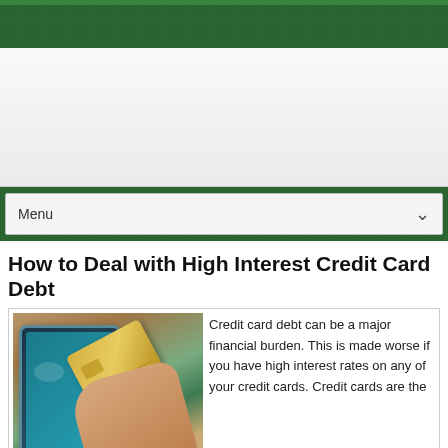[Figure (other): Green dotted/textured header banner with navigation menu bar below it showing 'Menu' text and a dropdown chevron]
How to Deal with High Interest Credit Card Debt
[Figure (photo): A hand holding a gold credit card over a tablet device on a wooden surface]
Credit card debt can be a major financial burden. This is made worse if you have high interest rates on any of your credit cards. Credit cards are the